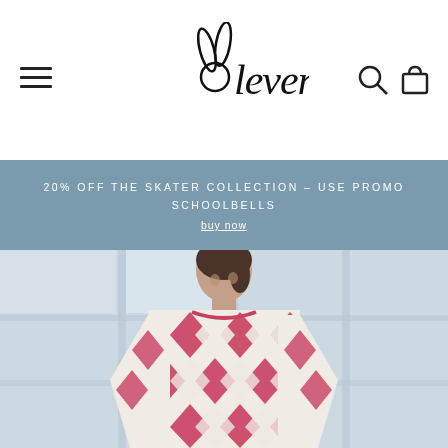[Figure (logo): Leveret brand logo with bunny ears and script lettering]
20% OFF THE SKATER COLLECTION – USE PROMO SCHOOLBELLS
buy now
[Figure (photo): Young woman wearing a red and white argyle/diamond pattern sweater, standing in front of large industrial windows]